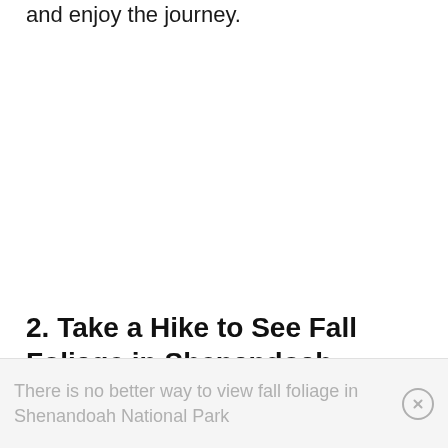and enjoy the journey.
2. Take a Hike to See Fall Foliage in Shenandoah
There is no better way to view fall foliage in Shenandoah National Park